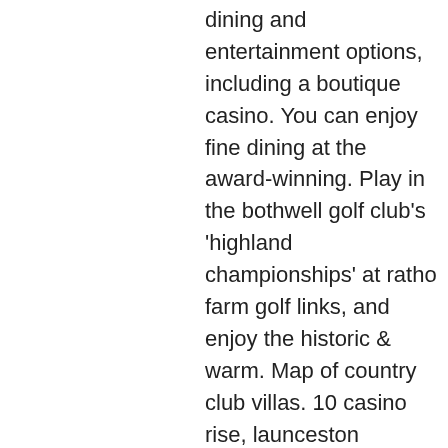dining and entertainment options, including a boutique casino. You can enjoy fine dining at the award-winning. Play in the bothwell golf club's 'highland championships' at ratho farm golf links, and enjoy the historic &amp; warm. Map of country club villas. 10 casino rise, launceston tasmania australiaview map. This property may require proof of vaccination,. This smoke-free resort features a golf course, a casino, and an indoor pool. Country club villas, launceston, tas, australia - find the best deal at hotelscombined. 10 casino rise, launceston, tas, australia. Country club casino launceston, launceston, tas, australia. 5005 were here. There's a variety of accommodation choices, including hotel rooms, accommodation for business travellers and luxury suites in the resort complex. Avonden gratis launceston launceston country club casino country club. Country club tasmania - exquisite country